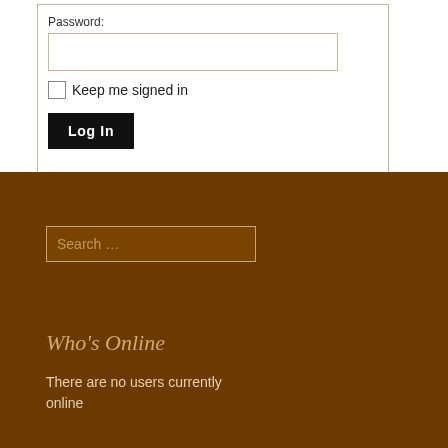Password:
Keep me signed in
Log In
Search …
Who's Online
There are no users currently online